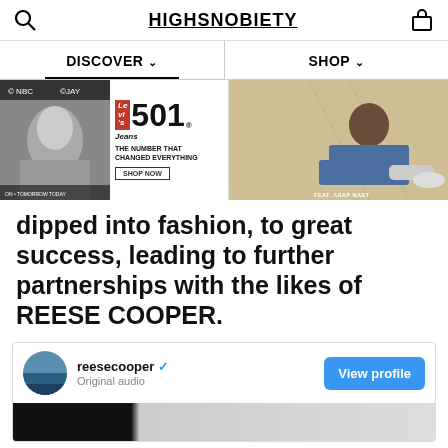HIGHSNOBIETY
DISCOVER  SHOP
[Figure (photo): Levi's 501 Jeans advertisement banner with B&W portrait photo on left and 'THE NUMBER THAT CHANGED EVERYTHING' tagline, alongside a photo of a man in jeans labeled 'FEAT. ASAP NAST']
dipped into fashion, to great success, leading to further partnerships with the likes of REESE COOPER.
reesecooper  Original audio
[Figure (screenshot): Instagram embed for reesecooper with View profile button and media thumbnail below]